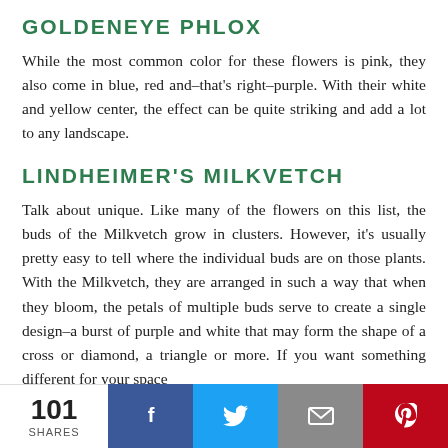GOLDENEYE PHLOX
While the most common color for these flowers is pink, they also come in blue, red and–that's right–purple. With their white and yellow center, the effect can be quite striking and add a lot to any landscape.
LINDHEIMER'S MILKVETCH
Talk about unique. Like many of the flowers on this list, the buds of the Milkvetch grow in clusters. However, it's usually pretty easy to tell where the individual buds are on those plants. With the Milkvetch, they are arranged in such a way that when they bloom, the petals of multiple buds serve to create a single design–a burst of purple and white that may form the shape of a cross or diamond, a triangle or more. If you want something different for your space
101 SHARES | Facebook | Twitter | Email | Pinterest